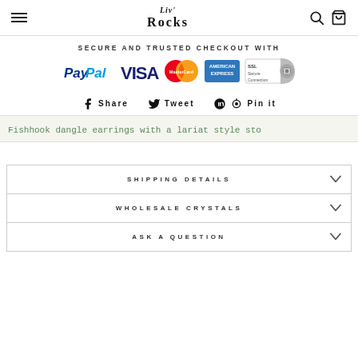Liv' Rocks — navigation header with hamburger, search, and bag icons
SECURE AND TRUSTED CHECKOUT WITH
[Figure (infographic): Payment logos: PayPal, VISA, MasterCard, American Express, SSL Secure Connection]
Share  Tweet  Pin it
Fishhook dangle earrings with a lariat style sto...
SHIPPING DETAILS
WHOLESALE CRYSTALS
ASK A QUESTION